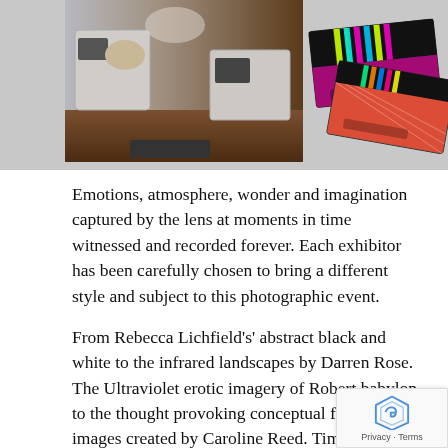[Figure (photo): Two photos: left shows an interior gallery/museum scene with display cases and wooden floor; right shows two overlapping colorful cards with neon stripes and patterns.]
Emotions, atmosphere, wonder and imagination captured by the lens at moments in time witnessed and recorded forever. Each exhibitor has been carefully chosen to bring a different style and subject to this photographic event.
From Rebecca Lichfield's' abstract black and white to the infrared landscapes by Darren Rose. The Ultraviolet erotic imagery of Robert babylon to the thought provoking conceptual figurative images created by Caroline Reed. Time captured flowers in varying states by Paul Knight to the still life food scenes reminisce classical art by photographer Kasia Burke.